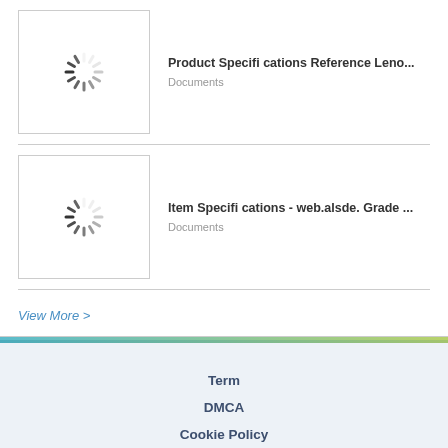[Figure (illustration): Loading spinner / thumbnail placeholder for Product Specifications Reference Lenovo document]
Product Specifi cations Reference Leno...
Documents
[Figure (illustration): Loading spinner / thumbnail placeholder for Item Specifications - web.alsde. Grade ... document]
Item Specifi cations - web.alsde. Grade ...
Documents
View More >
Term
DMCA
Cookie Policy
Contact Us
Copyright © 2018 FDOCUMENTS